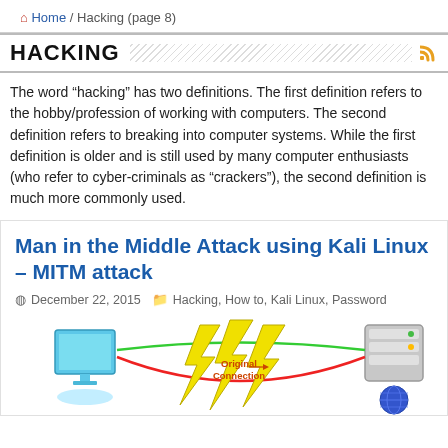Home / Hacking (page 8)
HACKING
The word “hacking” has two definitions. The first definition refers to the hobby/profession of working with computers. The second definition refers to breaking into computer systems. While the first definition is older and is still used by many computer enthusiasts (who refer to cyber-criminals as “crackers”), the second definition is much more commonly used.
Man in the Middle Attack using Kali Linux – MITM attack
December 22, 2015   Hacking, How to, Kali Linux, Password
[Figure (illustration): MITM attack diagram showing a computer on the left connected by red and green lines to yellow lightning bolt symbols in the center labeled 'Original Connection', and a server on the right, illustrating a Man in the Middle Attack network diagram.]